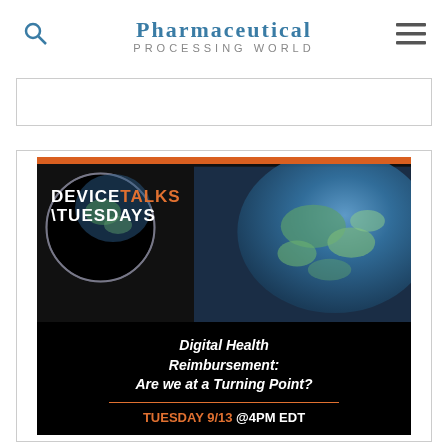Pharmaceutical Processing World
[Figure (screenshot): Empty advertisement banner placeholder with thin border]
[Figure (illustration): DeviceTalks Tuesdays promotional banner. Orange bar at top, black background with globe imagery and circular logo. Text reads: DEVICE TALKS TUESDAYS. Digital Health Reimbursement: Are we at a Turning Point? TUESDAY 9/13 @4PM EDT]